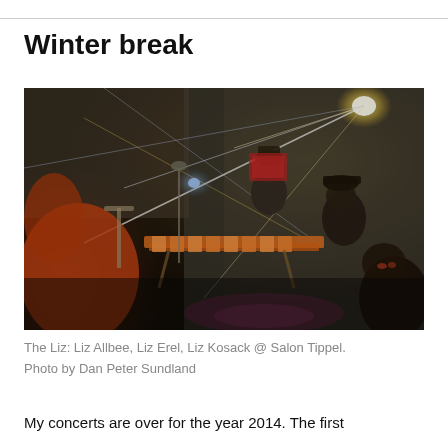Winter break
[Figure (photo): A low-light concert photo showing musicians performing at Salon Tippel. Colorful light streaks and laser beams cut across the dark scene. A marimba or xylophone instrument is visible in the foreground, with musicians and audience members in a dimly lit venue.]
The Liz: Liz Allbee, Liz Erel, Liz Kosack @ Salon Tippel. Photo by Dan Peter Sundland
My concerts are over for the year 2014. The first